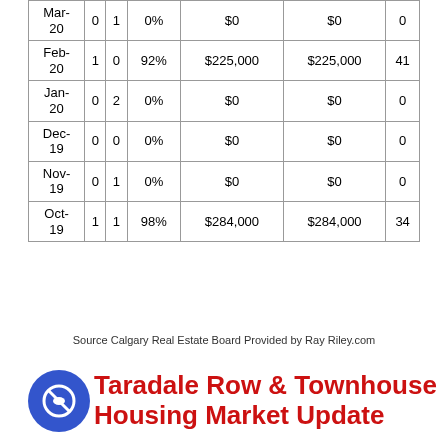| Mar-20 | 0 | 1 | 0% | $0 | $0 | 0 |
| Feb-20 | 1 | 0 | 92% | $225,000 | $225,000 | 41 |
| Jan-20 | 0 | 2 | 0% | $0 | $0 | 0 |
| Dec-19 | 0 | 0 | 0% | $0 | $0 | 0 |
| Nov-19 | 0 | 1 | 0% | $0 | $0 | 0 |
| Oct-19 | 1 | 1 | 98% | $284,000 | $284,000 | 34 |
Source Calgary Real Estate Board Provided by Ray Riley.com
Taradale Row & Townhouse Housing Market Update